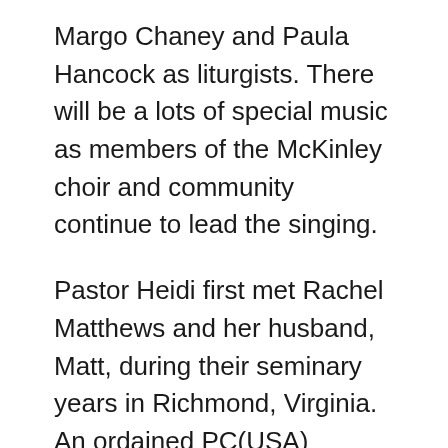Margo Chaney and Paula Hancock as liturgists. There will be a lots of special music as members of the McKinley choir and community continue to lead the singing.
Pastor Heidi first met Rachel Matthews and her husband, Matt, during their seminary years in Richmond, Virginia. An ordained PC(USA) minister of the Word and Sacrament, Rachel is currently mission coordinator at First Presbyterian Church Champaign. Rachel came to Illinois two years ago from Greenville, South Carolina, where she was a pastor at McCarter Presbyterian Church as well as a pastoral counselor and play therapist at